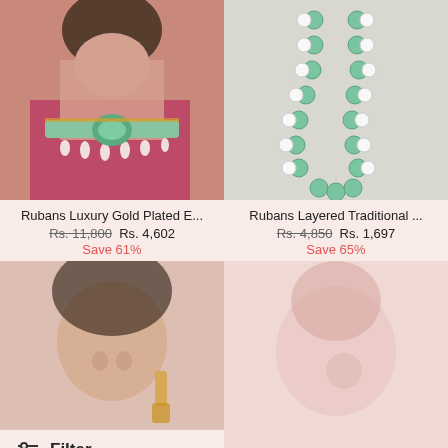[Figure (photo): Woman wearing gold plated green stone choker necklace with pearl drops, dressed in magenta/red outfit]
[Figure (photo): Green bead and white pearl layered traditional necklace on grey background]
Rubans Luxury Gold Plated E...
Rs. 11,800  Rs. 4,602
Save 61%
Rubans Layered Traditional ...
Rs. 4,850  Rs. 1,697
Save 65%
[Figure (photo): Smiling woman wearing gold jhumka earrings, partially faded/frosted image]
[Figure (photo): Woman wearing jewelry, heavily faded/frosted pink image]
Filter